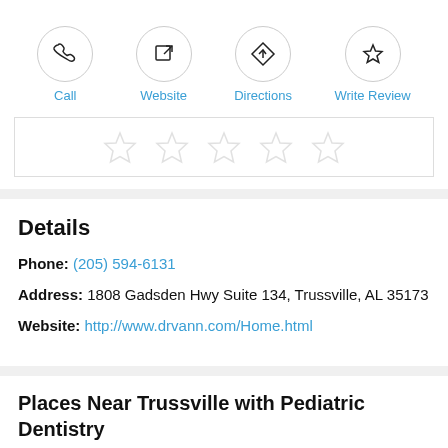[Figure (infographic): Four action buttons in circles: Call, Website, Directions, Write Review]
[Figure (infographic): Five empty star rating icons in a bordered box]
Details
Phone: (205) 594-6131
Address: 1808 Gadsden Hwy Suite 134, Trussville, AL 35173
Website: http://www.drvann.com/Home.html
Places Near Trussville with Pediatric Dentistry
Alton (4 miles)
Chalkville (5 miles)
Pinson (10 miles)